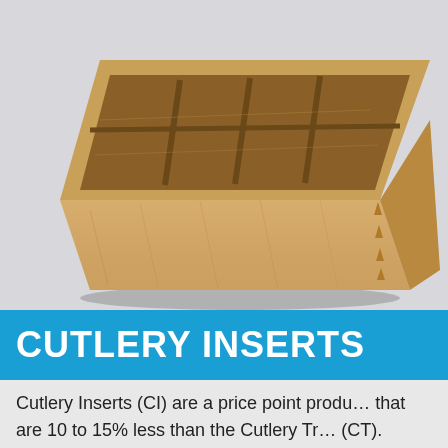[Figure (photo): A wooden cutlery insert/drawer organizer box shown at an angle, made of light maple wood with dovetail joints and internal dividers for organizing cutlery.]
CUTLERY INSERTS
Cutlery Inserts (CI) are a price point produ... that are 10 to 15% less than the Cutlery Tr... (CT).